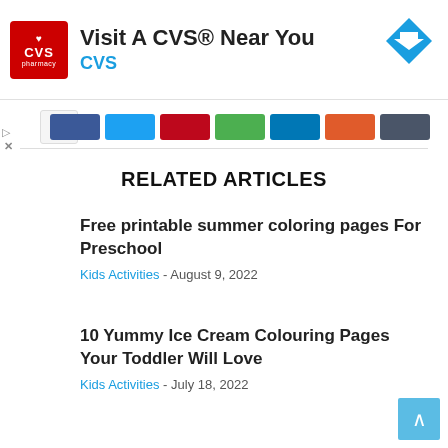[Figure (other): CVS Pharmacy advertisement banner with red logo, 'Visit A CVS® Near You' text, CVS subtitle in blue, and a directions arrow icon]
[Figure (other): Social sharing bar with colorful buttons for Facebook, Twitter, Pinterest, Google+, LinkedIn, Reddit, and Email]
RELATED ARTICLES
Free printable summer coloring pages For Preschool
Kids Activities - August 9, 2022
10 Yummy Ice Cream Colouring Pages Your Toddler Will Love
Kids Activities - July 18, 2022